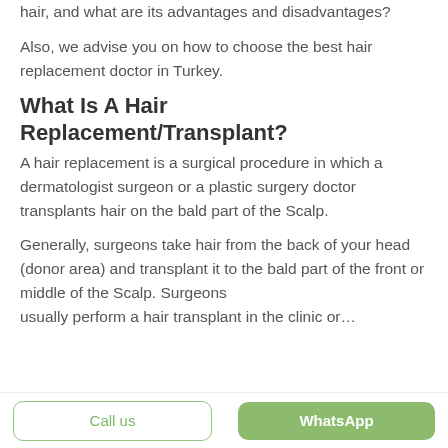hair, and what are its advantages and disadvantages?
Also, we advise you on how to choose the best hair replacement doctor in Turkey.
What Is A Hair Replacement/Transplant?
A hair replacement is a surgical procedure in which a dermatologist surgeon or a plastic surgery doctor transplants hair on the bald part of the Scalp.
Generally, surgeons take hair from the back of your head (donor area) and transplant it to the bald part of the front or middle of the Scalp. Surgeons
Call us | WhatsApp